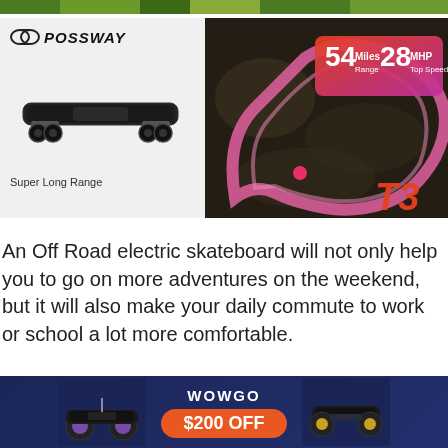[Figure (photo): Green foliage strip at the top of the page]
[Figure (photo): Possway electric skateboard advertisement showing the T3 board on the left with 'Super Long Range' caption, and an aerial race track image on the right showing '54 Miles Range, 28 MHP Top Speed' stats and T3 branding]
An Off Road electric skateboard will not only help you to go on more adventures on the weekend, but it will also make your daily commute to work or school a lot more comfortable.
All-terrain eboards have bigger, softer and grippier
[Figure (photo): Wowgo advertisement banner with electric skateboard images on left and right, WOWGO text in center and '$200 OFF' in an orange pill button]
✕